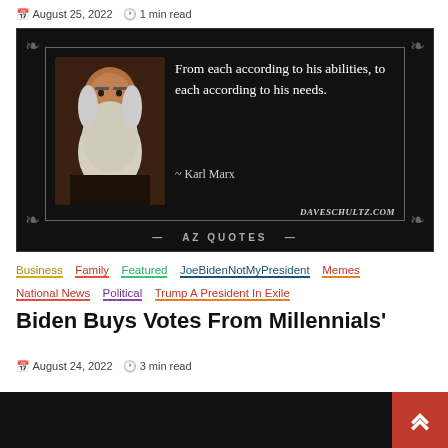August 25, 2022  1 min read
[Figure (photo): Dark background quote card with a portrait photo of Karl Marx (elderly man with large white beard) on the left, and on the right the quote: 'From each according to his abilities, to each according to his needs. ~ Karl Marx'. Bottom shows 'AZ QUOTES' and watermark 'DaveSchultz.com'.]
Business
Family
Featured
JoeBidenNotMyPresident
Memes
National News
Political
Trump A President In Exile
Biden Buys Votes From Millennials'
August 24, 2022  3 min read